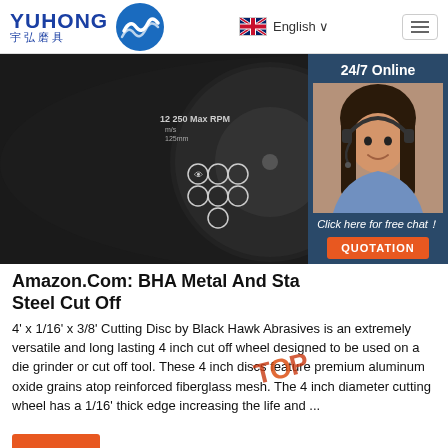YUHONG 宇弘磨具 | English | Menu
[Figure (photo): Close-up photo of a black abrasive cut-off disc showing safety icons, barcode, and text '12 250 Max RPM'. A customer service agent (woman with headset) is shown in a sidebar widget with '24/7 Online' text, 'Click here for free chat!', and QUOTATION button.]
Amazon.Com: BHA Metal And Stainless Steel Cut Off
4' x 1/16' x 3/8' Cutting Disc by Black Hawk Abrasives is an extremely versatile and long lasting 4 inch cut off wheel designed to be used on a die grinder or cut off tool. These 4 inch discs feature premium aluminum oxide grains atop reinforced fiberglass mesh. The 4 inch diameter cutting wheel has a 1/16' thick edge increasing the life and ...